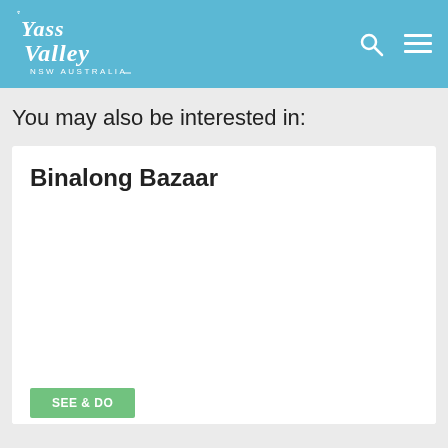Yass Valley NSW Australia
You may also be interested in:
Binalong Bazaar
[Figure (logo): Yass Valley NSW Australia logo in white cursive script on a blue background]